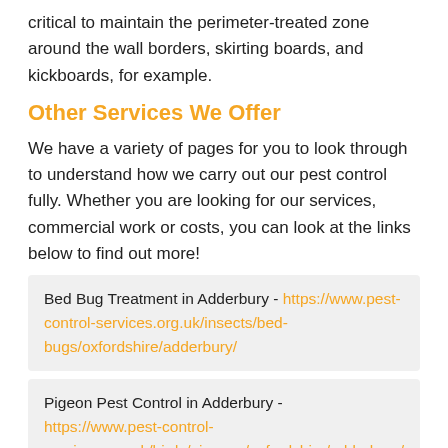critical to maintain the perimeter-treated zone around the wall borders, skirting boards, and kickboards, for example.
Other Services We Offer
We have a variety of pages for you to look through to understand how we carry out our pest control fully. Whether you are looking for our services, commercial work or costs, you can look at the links below to find out more!
Bed Bug Treatment in Adderbury - https://www.pest-control-services.org.uk/insects/bed-bugs/oxfordshire/adderbury/
Pigeon Pest Control in Adderbury - https://www.pest-control-services.org.uk/birds/pigeons/oxfordshire/adderbury/
Mice Control in Adderbury - https://www.pest-control-services.org.uk/rodents/mice/oxfordshire/adderbury/
Moth Infestation in Adderbury - https://www.pest-control-services.org.uk/...